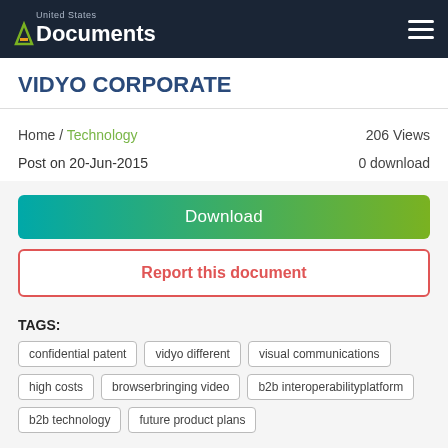United States Documents
VIDYO CORPORATE
Home / Technology   206 Views
Post on 20-Jun-2015   0 download
Download
Report this document
TAGS:
confidential patent
vidyo different
visual communications
high costs
browserbringing video
b2b interoperabilityplatform
b2b technology
future product plans
SHARE